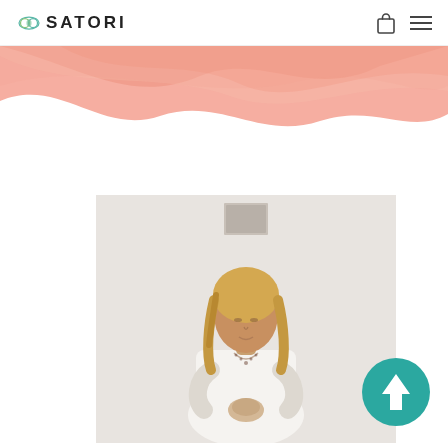SATORI
[Figure (illustration): Abstract coral/salmon colored wave or fluid art graphic at the top of the page]
[Figure (photo): Woman with blonde hair in white top, hands in prayer position (namaste), eyes closed, meditating]
[Figure (illustration): Teal circular scroll-to-top button with upward arrow icon in the bottom right corner]